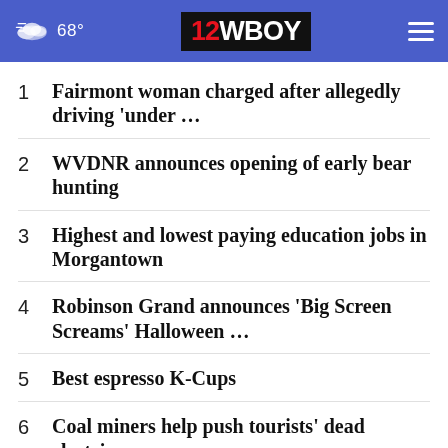68° | 12WBOY
1  Fairmont woman charged after allegedly driving 'under ...
2  WVDNR announces opening of early bear hunting
3  Highest and lowest paying education jobs in Morgantown
4  Robinson Grand announces 'Big Screen Screams' Halloween ...
5  Best espresso K-Cups
6  Coal miners help push tourists' dead electric car ...
7  Should you wash raw chicken before ...